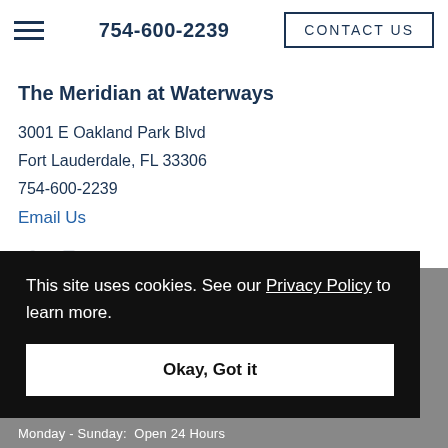754-600-2239  CONTACT US
The Meridian at Waterways
3001 E Oakland Park Blvd
Fort Lauderdale, FL 33306
754-600-2239
Email Us
This site uses cookies. See our Privacy Policy to learn more.
Okay, Got it
Monday - Sunday:  Open 24 Hours